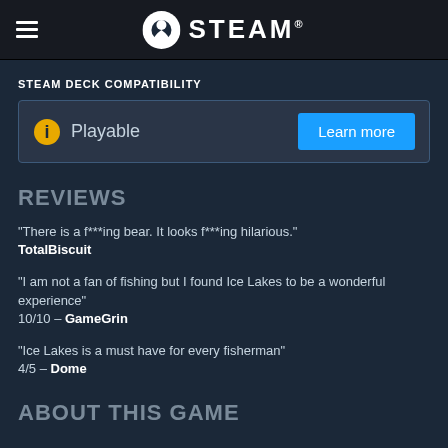STEAM
STEAM DECK COMPATIBILITY
Playable — Learn more
REVIEWS
"There is a f***ing bear. It looks f***ing hilarious."
TotalBiscuit
"I am not a fan of fishing but I found Ice Lakes to be a wonderful experience" 10/10 – GameGrin
"Ice Lakes is a must have for every fisherman"
4/5 – Dome
ABOUT THIS GAME